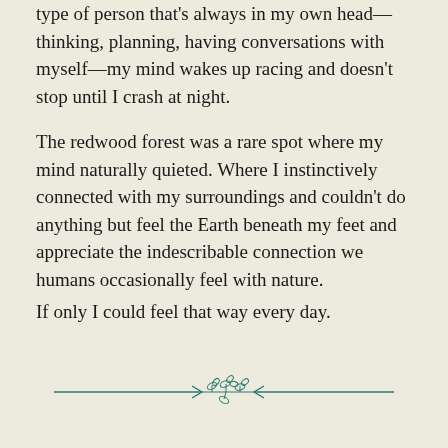type of person that's always in my own head—thinking, planning, having conversations with myself—my mind wakes up racing and doesn't stop until I crash at night.
The redwood forest was a rare spot where my mind naturally quieted. Where I instinctively connected with my surroundings and couldn't do anything but feel the Earth beneath my feet and appreciate the indescribable connection we humans occasionally feel with nature.
If only I could feel that way every day.
[Figure (illustration): Decorative botanical divider: two thin teal horizontal lines meeting at a central point with small leaf/branch motifs along the center portion, styled as a nature-themed section break.]